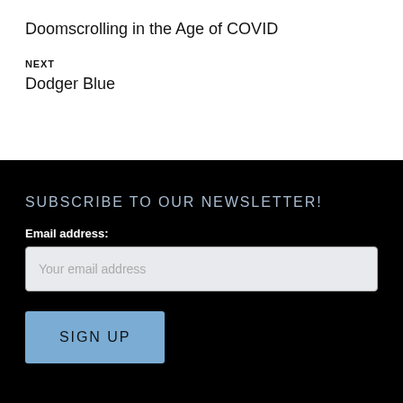Doomscrolling in the Age of COVID
NEXT
Dodger Blue
SUBSCRIBE TO OUR NEWSLETTER!
Email address:
Your email address
SIGN UP